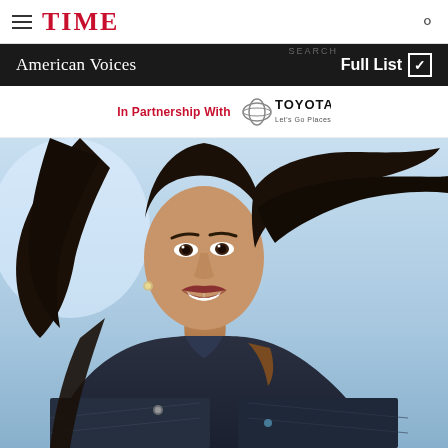TIME — American Voices | Full List
In Partnership With TOYOTA Let's Go Places
[Figure (photo): Portrait photo of a smiling woman with dark hair blowing in wind, wearing a navy quilted jacket with brown trim, photographed outdoors against a light blue sky background]